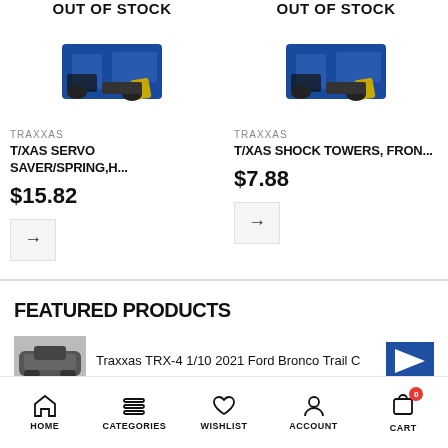OUT OF STOCK
[Figure (photo): Product image of Traxxas servo saver/spring part, blue and yellow RC car components]
TRAXXAS
T/XAS SERVO SAVER/SPRING,H...
$15.82
OUT OF STOCK
[Figure (photo): Product image of Traxxas shock towers front, blue RC car components]
TRAXXAS
T/XAS SHOCK TOWERS, FRON...
$7.88
FEATURED PRODUCTS
Traxxas TRX-4 1/10 2021 Ford Bronco Trail C
HOME  CATEGORIES  WISHLIST  ACCOUNT  CART